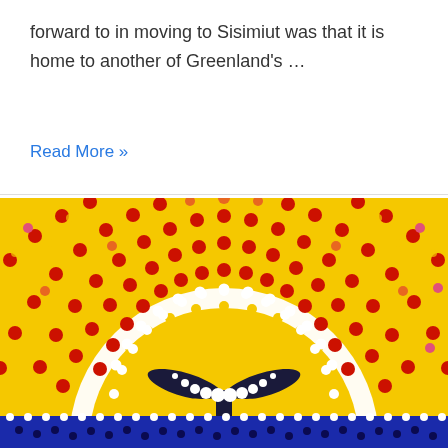forward to in moving to Sisimiut was that it is home to another of Greenland's …
Read More »
[Figure (illustration): Dot-art painting showing a whale tail silhouette in dark blue/black against a white circular backdrop, surrounded by radiating arcs of dots in yellow, red, orange, and white on a yellow background. The bottom edge shows a blue water band with white dot trim. Indigenous/aboriginal dot painting style.]